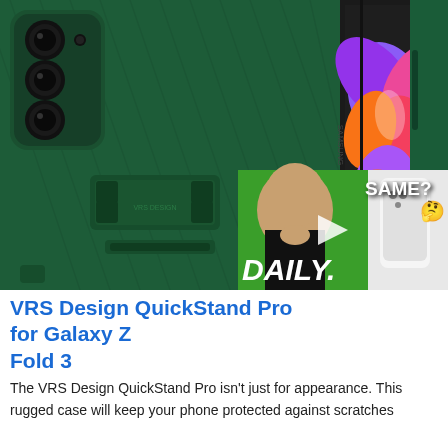[Figure (photo): VRS Design QuickStand Pro case for Samsung Galaxy Z Fold 3 in dark green color, shown from the back with kickstand visible. The phone is open displaying a colorful Samsung floral wallpaper on the inner screen. A video overlay thumbnail is visible in the bottom-right corner showing a YouTube video thumbnail with text 'SAME?' and 'DAILY.' with a person's face and thinking emoji. A close (X) button is visible on the video overlay.]
VRS Design QuickStand Pro for Galaxy Z Fold 3
The VRS Design QuickStand Pro isn't just for appearance. This rugged case will keep your phone protected against scratches